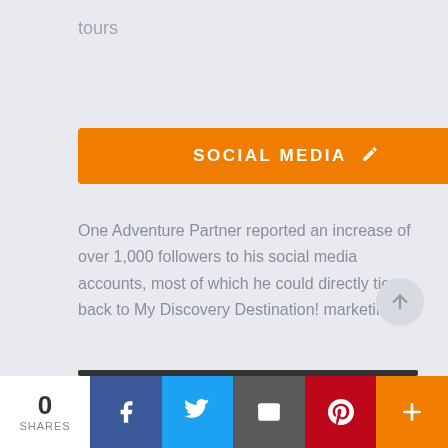tours
SOCIAL MEDIA
One Adventure Partner reported an increase of over 1,000 followers to his social media accounts, most of which he could directly tie back to My Discovery Destination! marketing
0 SHARES | Facebook | Twitter | Email | Pinterest | More